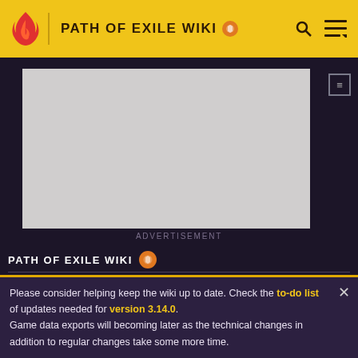PATH OF EXILE WIKI
[Figure (screenshot): Advertisement placeholder box (gray rectangle)]
ADVERTISEMENT
PATH OF EXILE WIKI
Meat Shield Support
Please consider helping keep the wiki up to date. Check the to-do list of updates needed for version 3.14.0. Game data exports will becoming later as the technical changes in addition to regular changes take some more time.